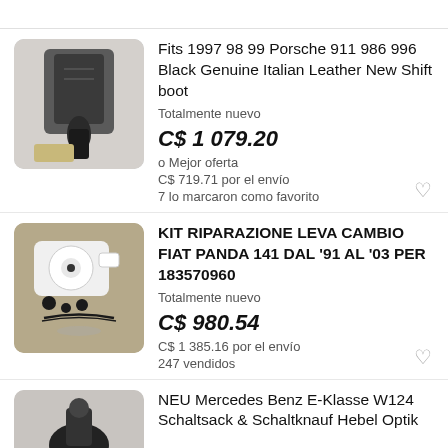[Figure (photo): Black leather shift boot for Porsche 911]
Fits 1997 98 99 Porsche 911 986 996 Black Genuine Italian Leather New Shift boot
Totalmente nuevo
C$ 1 079.20
o Mejor oferta
C$ 719.71 por el envío
7 lo marcaron como favorito
[Figure (photo): KIT RIPARAZIONE LEVA CAMBIO FIAT PANDA 141 parts with white plastic housing and rubber seals]
KIT RIPARAZIONE LEVA CAMBIO FIAT PANDA 141 DAL '91 AL '03 PER 183570960
Totalmente nuevo
C$ 980.54
C$ 1 385.16 por el envío
247 vendidos
[Figure (photo): NEU Mercedes Benz E-Klasse W124 Schaltsack & Schaltknauf Hebel Optik]
NEU Mercedes Benz E-Klasse W124 Schaltsack & Schaltknauf Hebel Optik